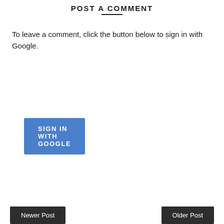POST A COMMENT
To leave a comment, click the button below to sign in with Google.
[Figure (screenshot): Blue 'SIGN IN WITH GOOGLE' button]
Newer Post | Older Post